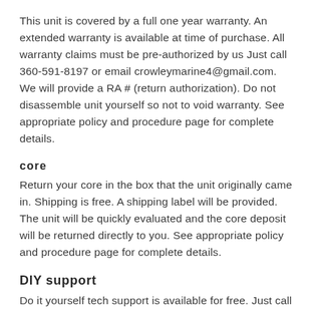This unit is covered by a full one year warranty. An extended warranty is available at time of purchase. All warranty claims must be pre-authorized by us Just call 360-591-8197 or email crowleymarine4@gmail.com. We will provide a RA # (return authorization). Do not disassemble unit yourself so not to void warranty. See appropriate policy and procedure page for complete details.
core
Return your core in the box that the unit originally came in. Shipping is free. A shipping label will be provided. The unit will be quickly evaluated and the core deposit will be returned directly to you. See appropriate policy and procedure page for complete details.
DIY support
Do it yourself tech support is available for free. Just call